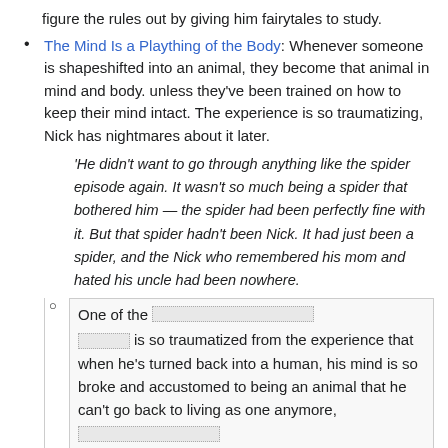figure the rules out by giving him fairytales to study.
The Mind Is a Plaything of the Body: Whenever someone is shapeshifted into an animal, they become that animal in mind and body. unless they've been trained on how to keep their mind intact. The experience is so traumatizing, Nick has nightmares about it later.
'He didn't want to go through anything like the spider episode again. It wasn't so much being a spider that bothered him — the spider had been perfectly fine with it. But that spider hadn't been Nick. It had just been a spider, and the Nick who remembered his mom and hated his uncle had been nowhere.
One of the [redacted] is so traumatized from the experience that when he's turned back into a human, his mind is so broke and accustomed to being an animal that he can't go back to living as one anymore, [redacted]